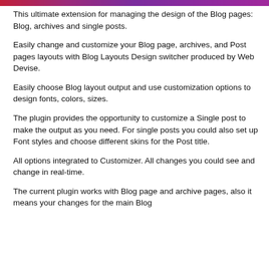This ultimate extension for managing the design of the Blog pages: Blog, archives and single posts.
Easily change and customize your Blog page, archives, and Post pages layouts with Blog Layouts Design switcher produced by Web Devise.
Easily choose Blog layout output and use customization options to design fonts, colors, sizes.
The plugin provides the opportunity to customize a Single post to make the output as you need. For single posts you could also set up Font styles and choose different skins for the Post title.
All options integrated to Customizer. All changes you could see and change in real-time.
The current plugin works with Blog page and archive pages, also it means your changes for the main Blog...